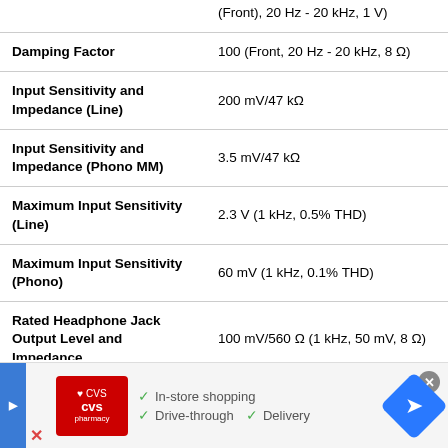| Specification | Value |
| --- | --- |
|  | (Front), 20 Hz - 20 kHz, 1 V) |
| Damping Factor | 100 (Front, 20 Hz - 20 kHz, 8 Ω) |
| Input Sensitivity and Impedance (Line) | 200 mV/47 kΩ |
| Input Sensitivity and Impedance (Phono MM) | 3.5 mV/47 kΩ |
| Maximum Input Sensitivity (Line) | 2.3 V (1 kHz, 0.5% THD) |
| Maximum Input Sensitivity (Phono) | 60 mV (1 kHz, 0.1% THD) |
| Rated Headphone Jack Output Level and Impedance | 100 mV/560 Ω (1 kHz, 50 mV, 8 Ω) |
| S/N Ratio (Line, IHF-A) | 110 dB |
[Figure (screenshot): CVS Pharmacy advertisement banner: In-store shopping, Drive-through, Delivery]